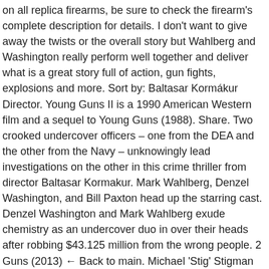on all replica firearms, be sure to check the firearm's complete description for details. I don't want to give away the twists or the overall story but Wahlberg and Washington really perform well together and deliver what is a great story full of action, gun fights, explosions and more. Sort by: Baltasar Kormákur Director. Young Guns II is a 1990 American Western film and a sequel to Young Guns (1988). Share. Two crooked undercover officers – one from the DEA and the other from the Navy – unknowingly lead investigations on the other in this crime thriller from director Baltasar Kormakur. Mark Wahlberg, Denzel Washington, and Bill Paxton head up the starring cast. Denzel Washington and Mark Wahlberg exude chemistry as an undercover duo in over their heads after robbing $43.125 million from the wrong people. 2 Guns (2013) ← Back to main. Michael 'Stig' Stigman Denzel Washington. 2 Guns Movie Trailer : Blake Masters Screenplay. "2 Guns" is a well-acted, suspenseful and funny series of riffs on familiar action movie clichés. Mark Wahlberg. 2 Guns is an action film starring Danzel